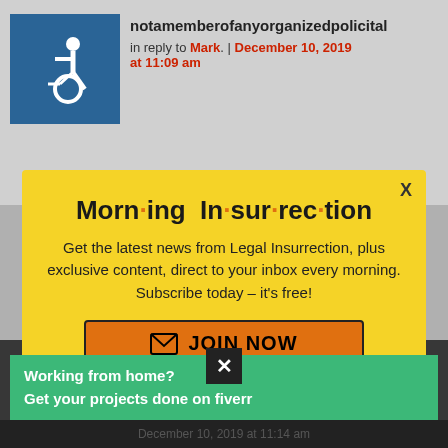notamemberofanyorganizedpolicital
in reply to Mark. | December 10, 2019 at 11:09 am
[Figure (screenshot): Yellow modal popup for Morning Insurrection newsletter subscription from Legal Insurrection website, with JOIN NOW button]
He thinks that's different than lying
back to top
[Figure (screenshot): Black X close button on dark background]
Working from home?
Get your projects done on fiverr
December 10, 2019 at 11:14 am